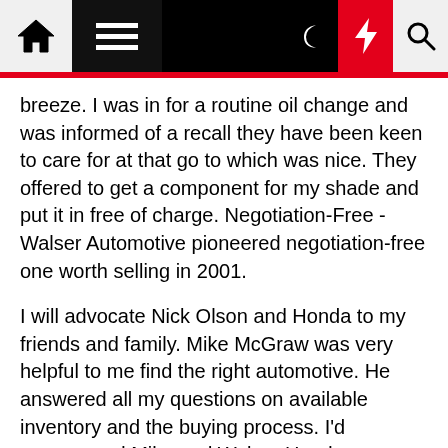Navigation bar with home, menu, dark mode, lightning, and search icons
breeze. I was in for a routine oil change and was informed of a recall they have been keen to care for at that go to which was nice. They offered to get a component for my shade and put it in free of charge. Negotiation-Free - Walser Automotive pioneered negotiation-free one worth selling in 2001.
I will advocate Nick Olson and Honda to my friends and family. Mike McGraw was very helpful to me find the right automotive. He answered all my questions on available inventory and the buying process. I'd recommend Mike and Walser Honda doubtless. Generally good, but it took a long time to get via the paper work after I mentioned I would buy it. The folks I labored with had been well mannered and friendly. Darrell Etherington, "Karma Revero hybrid electric sports automobile revealed, complete with